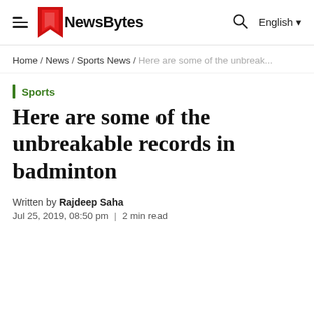NewsBytes — English
Home / News / Sports News / Here are some of the unbreak...
Sports
Here are some of the unbreakable records in badminton
Written by Rajdeep Saha
Jul 25, 2019, 08:50 pm | 2 min read